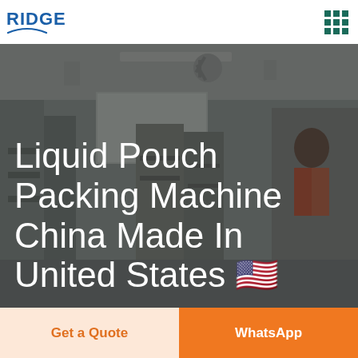RIDGE
[Figure (photo): Factory/manufacturing floor interior showing machinery and equipment, with a worker visible, overlaid with a dark semi-transparent tint]
Liquid Pouch Packing Machine China Made In United States 🇺🇸
Get a Quote
WhatsApp